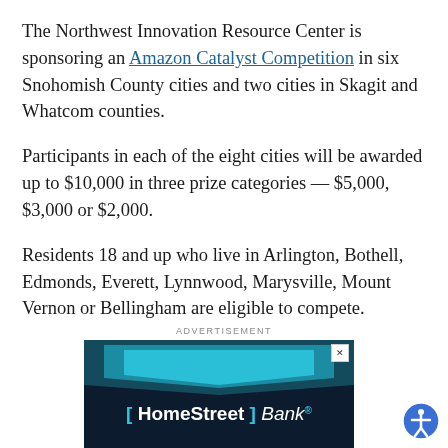The Northwest Innovation Resource Center is sponsoring an Amazon Catalyst Competition in six Snohomish County cities and two cities in Skagit and Whatcom counties.
Participants in each of the eight cities will be awarded up to $10,000 in three prize categories — $5,000, $3,000 or $2,000.
Residents 18 and up who live in Arlington, Bothell, Edmonds, Everett, Lynnwood, Marysville, Mount Vernon or Bellingham are eligible to compete.
ADVERTISEMENT
[Figure (other): HomeStreet Bank advertisement banner with dark navy background, teal chevron/arrow graphic at top, and HomeStreet Bank logo in teal and white text]